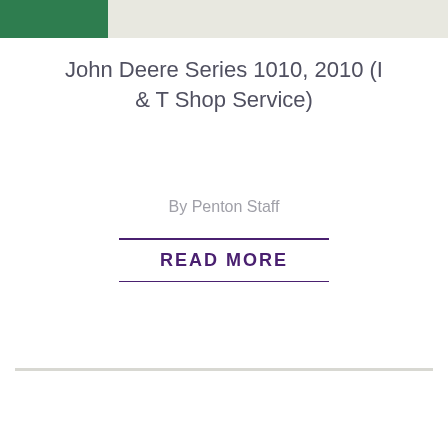[Figure (other): Header bar with dark green rectangle on left and beige/light grey rectangle on right]
John Deere Series 1010, 2010 (I & T Shop Service)
By Penton Staff
READ MORE